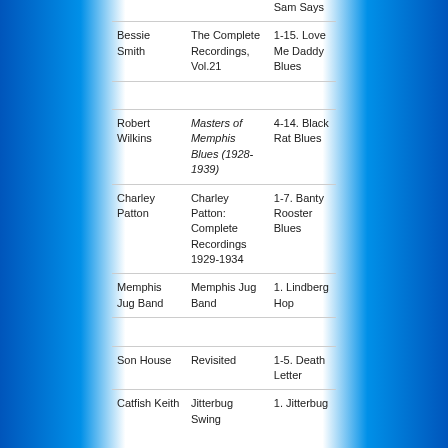| Artist | Album | Track |
| --- | --- | --- |
|  |  | Sam Says |
| Bessie Smith | The Complete Recordings, Vol.21 | 1-15. Love Me Daddy Blues |
| Robert Wilkins | Masters of Memphis Blues (1928-1939) | 4-14. Black Rat Blues |
| Charley Patton | Charley Patton: Complete Recordings 1929-1934 | 1-7. Banty Rooster Blues |
| Memphis Jug Band | Memphis Jug Band | 1. Lindberg Hop |
| Son House | Revisited | 1-5. Death Letter |
| Catfish Keith | Jitterbug Swing | 1. Jitterbug |